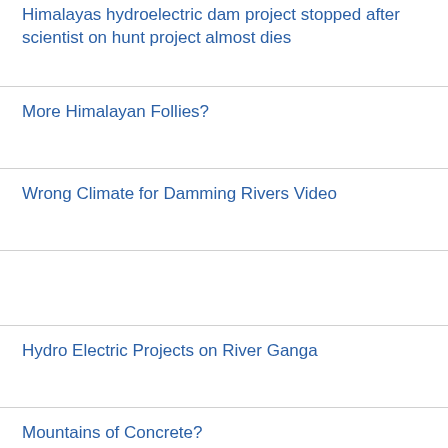Himalayas hydroelectric dam project stopped after scientist on hunt project almost dies
More Himalayan Follies?
Wrong Climate for Damming Rivers Video
Hydro Electric Projects on River Ganga
Mountains of Concrete?